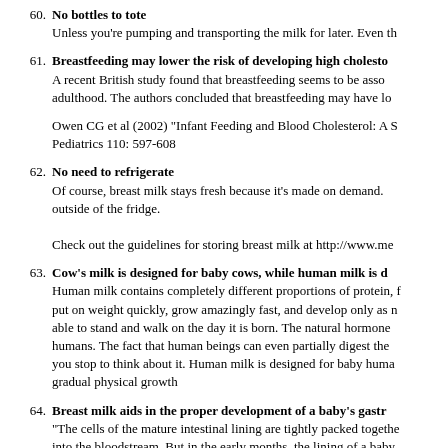60. No bottles to tote
Unless you're pumping and transporting the milk for later. Even th
61. Breastfeeding may lower the risk of developing high cholesto
A recent British study found that breastfeeding seems to be asso adulthood. The authors concluded that breastfeeding may have lo
Owen CG et al (2002) "Infant Feeding and Blood Cholesterol: A S Pediatrics 110: 597-608
62. No need to refrigerate
Of course, breast milk stays fresh because it's made on demand. outside of the fridge.
Check out the guidelines for storing breast milk at http://www.me
63. Cow's milk is designed for baby cows, while human milk is d
Human milk contains completely different proportions of protein, f put on weight quickly, grow amazingly fast, and develop only as n able to stand and walk on the day it is born. The natural hormone humans. The fact that human beings can even partially digest the you stop to think about it. Human milk is designed for baby huma gradual physical growth
64. Breast milk aids in the proper development of a baby's gastr
"The cells of the mature intestinal lining are tightly packed togethe into the bloodstream. But in the early months, the lining of a baby potential allergens to get through, which sets the infant...up for al special protein called imunoglobulin A (IgA), which acts like a pro